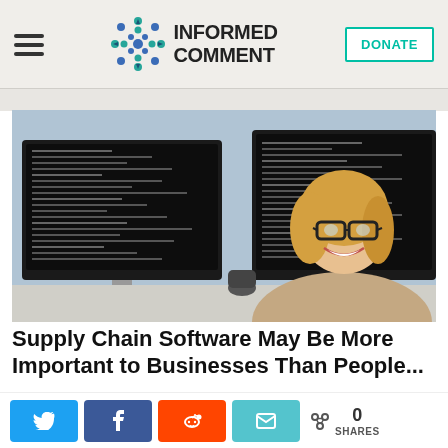INFORMED COMMENT | DONATE
[Figure (photo): Woman smiling turning to look at camera in front of two computer monitors showing dark terminal/code screens]
Supply Chain Software May Be More Important to Businesses Than People...
Share buttons: Twitter, Facebook, Reddit, Email — 0 SHARES